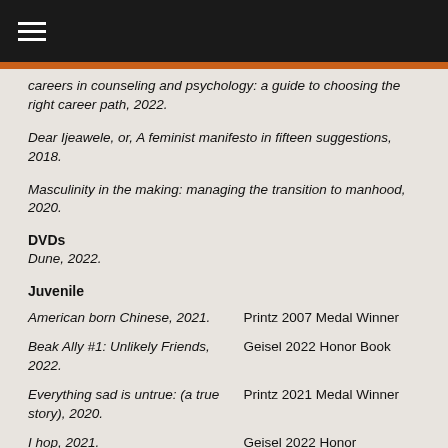≡
careers in counseling and psychology: a guide to choosing the right career path, 2022.
Dear Ijeawele, or, A feminist manifesto in fifteen suggestions, 2018.
Masculinity in the making: managing the transition to manhood, 2020.
DVDs
Dune, 2022.
Juvenile
American born Chinese, 2021.
Printz 2007 Medal Winner
Beak Ally #1: Unlikely Friends, 2022.
Geisel 2022 Honor Book
Everything sad is untrue: (a true story), 2020.
Printz 2021 Medal Winner
I hop, 2021.
Geisel 2022 Honor